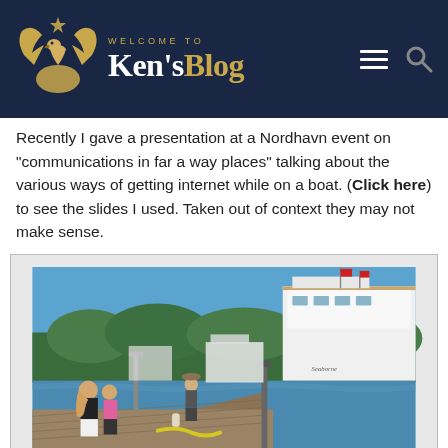WELCOME TO Ken'sBlog
Recently I gave a presentation at a Nordhavn event on “communications in far a way places” talking about the various ways of getting internet while on a boat. (Click here) to see the slides I used. Taken out of context they may not make sense.
[Figure (photo): A marina dock scene with people walking along a wooden pier, large white yachts moored on the right side, trees and blue sky in the background.]